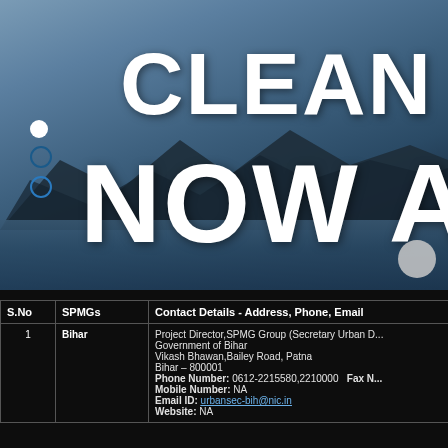[Figure (photo): Hero banner image showing a mountain lake landscape with blue tones. Large white bold text reads 'CLEAN GA...' on first line and 'NOW AND' on second line. Three navigation dots on the left side. A navigation arrow circle at bottom right.]
| S.No | SPMGs | Contact Details - Address, Phone, Email |
| --- | --- | --- |
| 1 | Bihar | Project Director,SPMG Group (Secretary Urban D...
Government of Bihar
Vikash Bhawan,Bailey Road, Patna
Bihar – 800001
Phone Number: 0612-2215580,2210000   Fax N...
Mobile Number: NA
Email ID: urbansec-bih@nic.in
Website: NA |